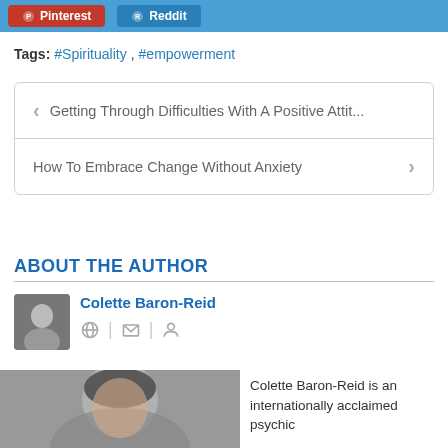Pinterest  Reddit
Tags: #Spirituality, #empowerment
< Getting Through Difficulties With A Positive Attit...
How To Embrace Change Without Anxiety >
ABOUT THE AUTHOR
Colette Baron-Reid
Colette Baron-Reid is an internationally acclaimed psychic